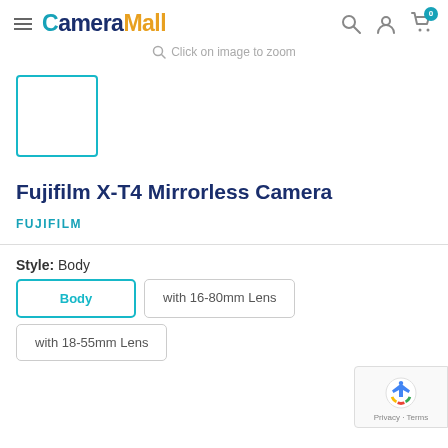CameraMall — navigation header with search, account, cart icons
Click on image to zoom
[Figure (photo): Small thumbnail box with teal border, empty white interior — product image placeholder]
Fujifilm X-T4 Mirrorless Camera
FUJIFILM
Style: Body
Body
with 16-80mm Lens
with 18-55mm Lens